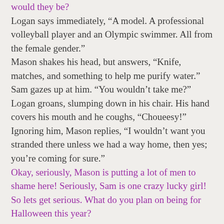would they be?
Logan says immediately, “A model. A professional volleyball player and an Olympic swimmer. All from the female gender.”
Mason shakes his head, but answers, “Knife, matches, and something to help me purify water.”
Sam gazes up at him. “You wouldn’t take me?”
Logan groans, slumping down in his chair. His hand covers his mouth and he coughs, “Choueesy!”
Ignoring him, Mason replies, “I wouldn’t want you stranded there unless we had a way home, then yes; you’re coming for sure.”
Okay, seriously, Mason is putting a lot of men to shame here! Seriously, Sam is one crazy lucky girl! So lets get serious. What do you plan on being for Halloween this year?
Logan says, “A minion.”
Mason laughs, and answers, “Whatever costume I buy